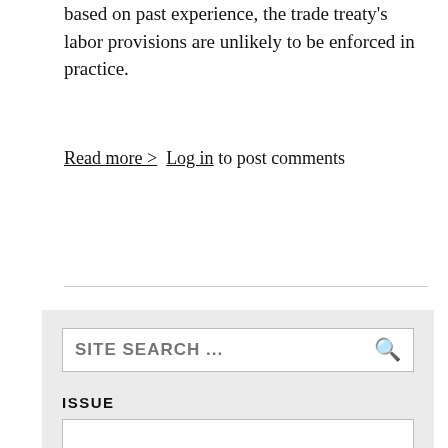based on past experience, the trade treaty's labor provisions are unlikely to be enforced in practice.
Read more >  Log in to post comments
SITE SEARCH ...
ISSUE
INDUSTRY